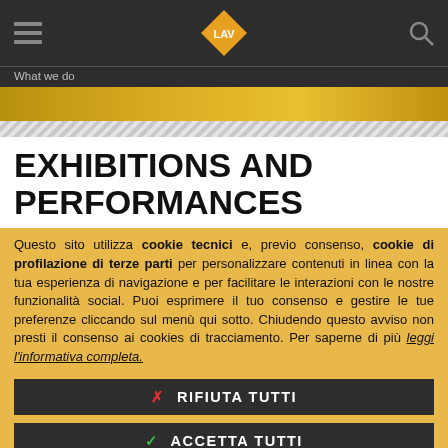LAV
What we do
EXHIBITIONS AND PERFORMANCES
Questo sito utilizza cookie tecnici e, previo consenso, cookie di profilazione di terze parti per personalizzare contenuti in linea con la tua esperienza di navigazione e per facilitare le interazioni con le nostre funzionalità social. Puoi esprimere il tuo consenso e gestire le tue preferenze cliccando sul menù qui sotto. Chiudendo questo avviso non presti il consenso ai cookies di tracciamento. Per saperne di più leggi l'informativa completa.
✗ RIFIUTA TUTTI
✓ ACCETTA TUTTI